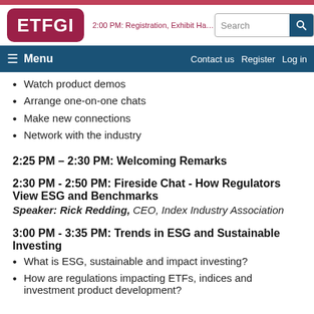ETFGI | 2:00 PM: Registration, Exhibit Hall & Networking
Watch product demos
Arrange one-on-one chats
Make new connections
Network with the industry
2:25 PM – 2:30 PM: Welcoming Remarks
2:30 PM - 2:50 PM: Fireside Chat - How Regulators View ESG and Benchmarks
Speaker: Rick Redding, CEO, Index Industry Association
3:00 PM - 3:35 PM: Trends in ESG and Sustainable Investing
What is ESG, sustainable and impact investing?
How are regulations impacting ETFs, indices and investment product development?